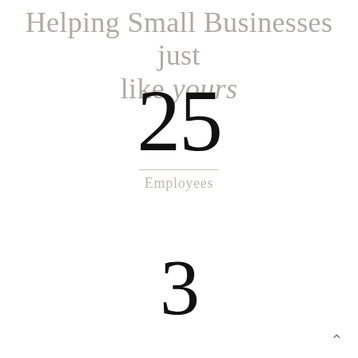Helping Small Businesses just like yours
25
Employees
3